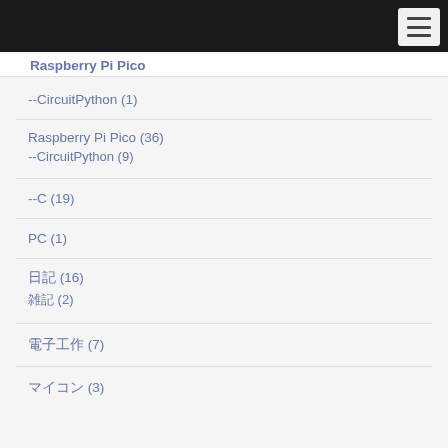Raspberry Pi Pico
--CircuitPython (1)
Raspberry Pi Pico (36)
--CircuitPython (9)
--C (19)
PC (1)
日記 (16)
雑記 (2)
電子工作 (7)
マイコン (3)